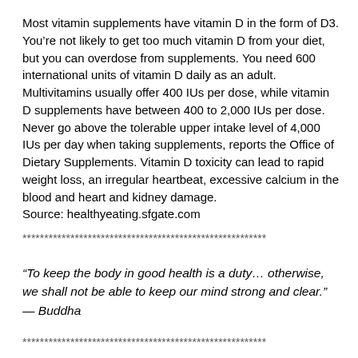Most vitamin supplements have vitamin D in the form of D3. You're not likely to get too much vitamin D from your diet, but you can overdose from supplements. You need 600 international units of vitamin D daily as an adult. Multivitamins usually offer 400 IUs per dose, while vitamin D supplements have between 400 to 2,000 IUs per dose. Never go above the tolerable upper intake level of 4,000 IUs per day when taking supplements, reports the Office of Dietary Supplements. Vitamin D toxicity can lead to rapid weight loss, an irregular heartbeat, excessive calcium in the blood and heart and kidney damage.
Source: healthyeating.sfgate.com
********************************************************
“To keep the body in good health is a duty… otherwise, we shall not be able to keep our mind strong and clear.” — Buddha
********************************************************